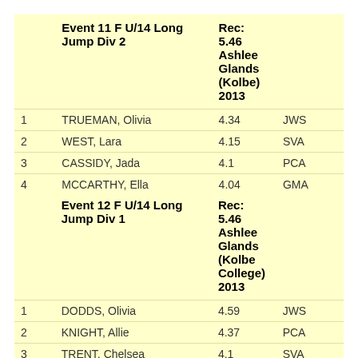|  | Event 11 F U/14 Long Jump Div 2 | Rec: 5.46 Ashlee Glands (Kolbe) 2013 |  |
| --- | --- | --- | --- |
| 1 | TRUEMAN, Olivia | 4.34 | JWS |
| 2 | WEST, Lara | 4.15 | SVA |
| 3 | CASSIDY, Jada | 4.1 | PCA |
| 4 | MCCARTHY, Ella | 4.04 | GMA |
| 5 | BULLOCK, Lucy | 3.45 | LWL |
| 998 | STAINFORTH, Brooklyn | 0 | HCC |
|  | Event 12 F U/14 Long Jump Div 1 | Rec: 5.46 Ashlee Glands (Kolbe College) 2013 |  |
| --- | --- | --- | --- |
| 1 | DODDS, Olivia | 4.59 | JWS |
| 2 | KNIGHT, Allie | 4.37 | PCA |
| 3 | TRENT, Chelsea | 4.1 | SVA |
| 4 | DE PAIVA, Ebony | 3.8 | LWL |
| 5 | MARQUES, Estella | 3.79 | GMA |